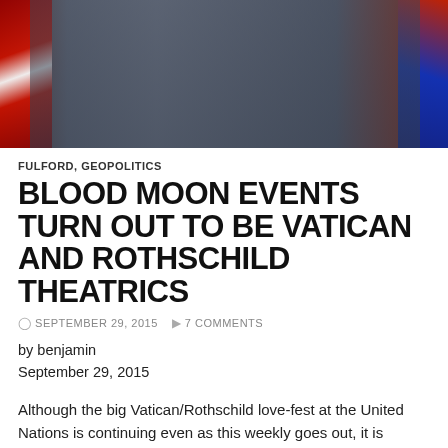[Figure (photo): Group photo of several people in suits, some wearing ceremonial sashes in red, white and blue colors]
FULFORD, GEOPOLITICS
BLOOD MOON EVENTS TURN OUT TO BE VATICAN AND ROTHSCHILD THEATRICS
SEPTEMBER 29, 2015   7 COMMENTS
by benjamin
September 29, 2015
Although the big Vatican/Rothschild love-fest at the United Nations is continuing even as this weekly goes out, it is already clear that the hopes for massive changes in how we run this planet have not been realized.